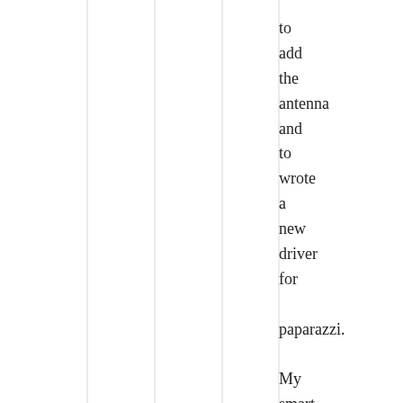to add the antenna and to wrote a new driver for

paparazzi.

My smart phone has also the same chip set. Usually